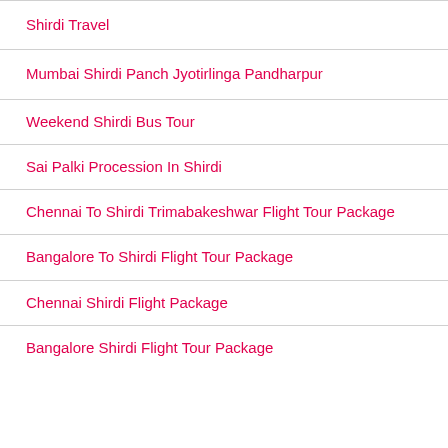Shirdi Travel
Mumbai Shirdi Panch Jyotirlinga Pandharpur
Weekend Shirdi Bus Tour
Sai Palki Procession In Shirdi
Chennai To Shirdi Trimabakeshwar Flight Tour Package
Bangalore To Shirdi Flight Tour Package
Chennai Shirdi Flight Package
Bangalore Shirdi Flight Tour Package